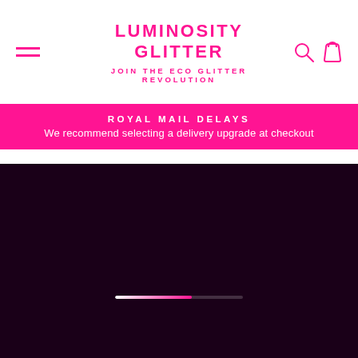LUMINOSITY GLITTER
JOIN THE ECO GLITTER REVOLUTION
ROYAL MAIL DELAYS
We recommend selecting a delivery upgrade at checkout
[Figure (screenshot): Dark maroon/purple background with a loading progress bar in the center, partially filled from left (white) to right (pink). This is the main hero/content area of the Luminosity Glitter website.]